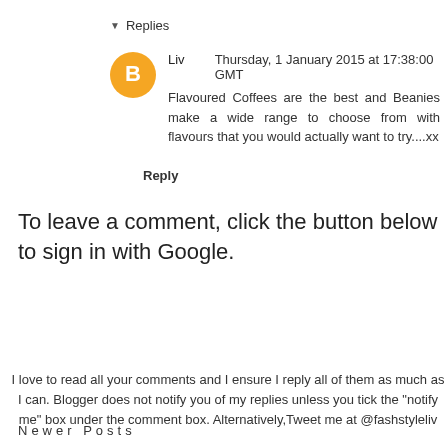▼  Replies
Liv      Thursday, 1 January 2015 at 17:38:00 GMT
Flavoured Coffees are the best and Beanies make a wide range to choose from with flavours that you would actually want to try....xx
Reply
To leave a comment, click the button below to sign in with Google.
[Figure (other): Blue 'SIGN IN WITH GOOGLE' button]
I love to read all your comments and I ensure I reply all of them as much as I can. Blogger does not notify you of my replies unless you tick the "notify me" box under the comment box. Alternatively,Tweet me at @fashstyleliv
Newer Posts